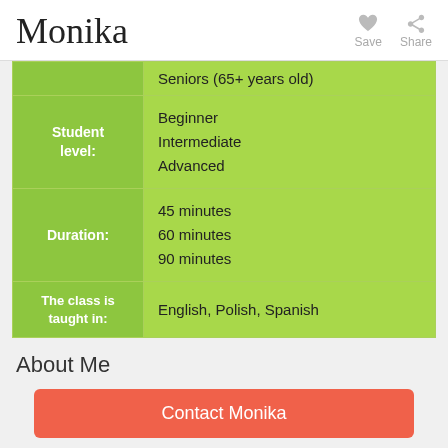Monika
| Label | Value |
| --- | --- |
|  | Seniors (65+ years old) |
| Student level: | Beginner
Intermediate
Advanced |
| Duration: | 45 minutes
60 minutes
90 minutes |
| The class is taught in: | English, Polish, Spanish |
About Me
Contact Monika